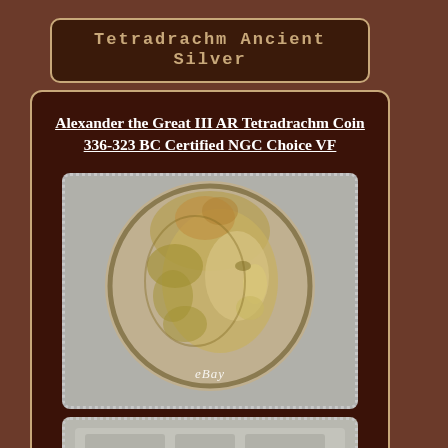Tetradrachm Ancient Silver
Alexander the Great III AR Tetradrachm Coin 336-323 BC Certified NGC Choice VF
[Figure (photo): Close-up photograph of an ancient silver tetradrachm coin showing the obverse with a profile portrait of Heracles/Alexander wearing a lion-skin headdress, displayed in an NGC coin slab holder with dotted border frame. eBay watermark visible.]
[Figure (photo): Partial view of the bottom of an NGC coin certification slab, showing the reverse side of the coin holder, cropped at the bottom of the page.]